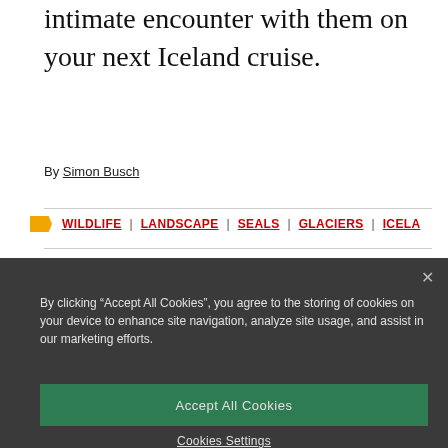intimate encounter with them on your next Iceland cruise.
By Simon Busch
WILDLIFE | LANDSCAPE | SEALS | GLACIERS | ICELA
By clicking “Accept All Cookies”, you agree to the storing of cookies on your device to enhance site navigation, analyze site usage, and assist in our marketing efforts.
Accept All Cookies
Cookies Settings